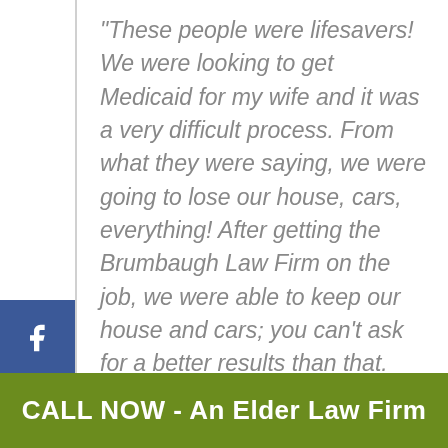“These people were lifesavers! We were looking to get Medicaid for my wife and it was a very difficult process. From what they were saying, we were going to lose our house, cars, everything! After getting the Brumbaugh Law Firm on the job, we were able to keep our house and cars; you can’t ask for a better results than that. They certainly made a believer out of me! After my wife passed away, they helped with the probate and did another excellent job. I’ve recommended the Brumbaugh Law Firm to
CALL NOW - An Elder Law Firm